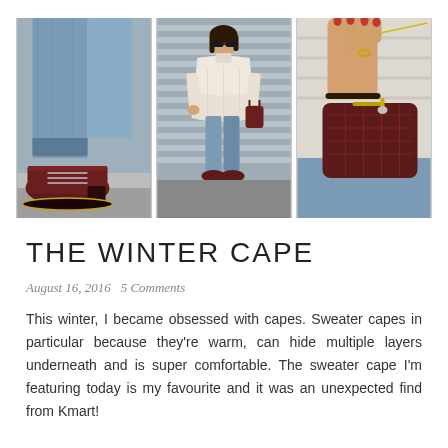[Figure (photo): Three-panel fashion photo strip: left panel shows close-up of burgundy lace-up oxford shoes with rolled jeans; center panel shows full-length shot of woman wearing a cream sweater cape with jeans and burgundy shoes against corrugated metal wall; right panel shows close-up of woman's hand with red nail polish holding a burgundy quilted clutch purse.]
THE WINTER CAPE
August 16, 2016   5 Comments
This winter, I became obsessed with capes. Sweater capes in particular because they're warm, can hide multiple layers underneath and is super comfortable. The sweater cape I'm featuring today is my favourite and it was an unexpected find from Kmart!